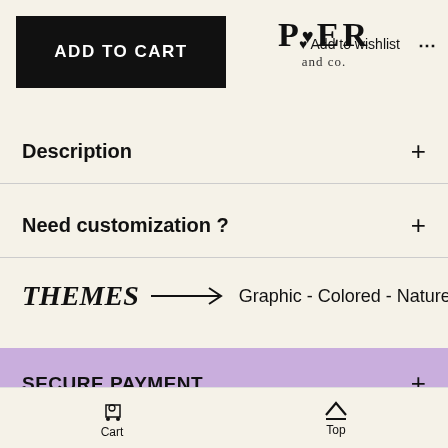[Figure (other): ADD TO CART button (black rectangle) overlapping a logo reading PIER and co. with a heart icon]
Description +
Need customization ? +
THEMES → Graphic - Colored - Nature
SECURE PAYMENT +
Cart  Top